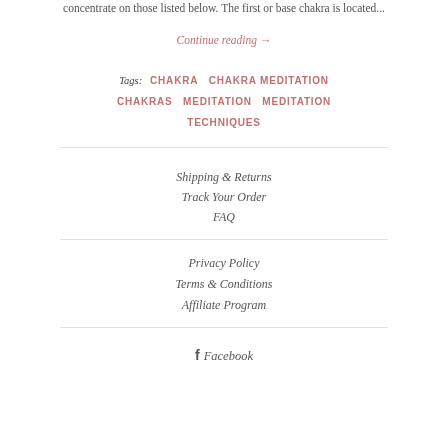concentrate on those listed below. The first or base chakra is located...
Continue reading →
Tags: CHAKRA   CHAKRA MEDITATION   CHAKRAS   MEDITATION   MEDITATION TECHNIQUES
Shipping & Returns
Track Your Order
FAQ
Privacy Policy
Terms & Conditions
Affiliate Program
Facebook